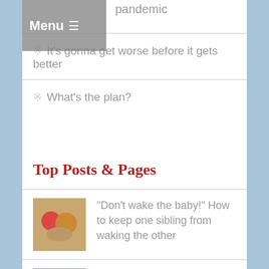Menu
pandemic
It's gonna get worse before it gets better
What's the plan?
Top Posts & Pages
"Don't wake the baby!" How to keep one sibling from waking the other
Take care of yourself, others and